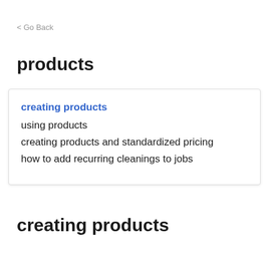< Go Back
products
creating products
using products
creating products and standardized pricing
how to add recurring cleanings to jobs
creating products